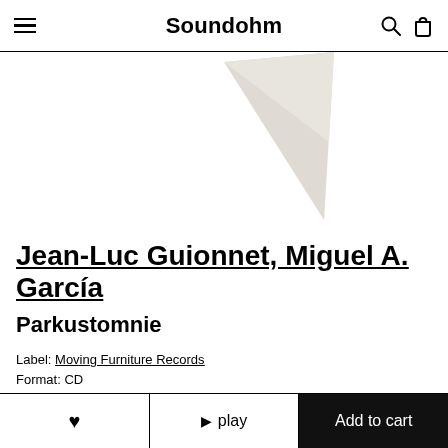Soundohm
[Figure (illustration): Partial view of an album cover showing a beige/light grey angled geometric shape (triangle/diamond) against a white background]
Jean-Luc Guionnet, Miguel A. García
Parkustomnie
Label: Moving Furniture Records
Format: CD